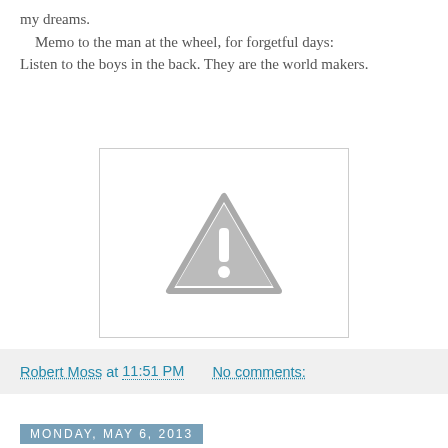my dreams.
    Memo to the man at the wheel, for forgetful days:
Listen to the boys in the back. They are the world makers.
[Figure (other): Placeholder image with a gray warning triangle/exclamation mark icon on white background with gray border]
Robert Moss at 11:51 PM   No comments:
Monday, May 6, 2013